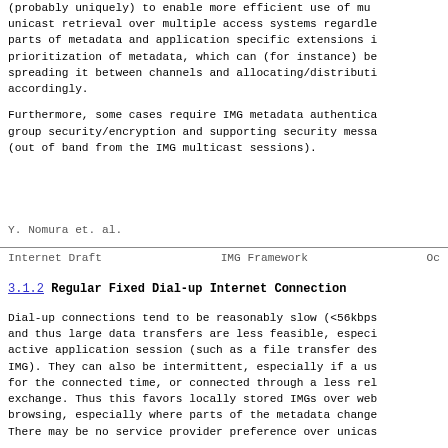(probably uniquely) to enable more efficient use of mu unicast retrieval over multiple access systems regardle parts of metadata and application specific extensions i prioritization of metadata, which can (for instance) be spreading it between channels and allocating/distributi accordingly.
Furthermore, some cases require IMG metadata authentica group security/encryption and supporting security messa (out of band from the IMG multicast sessions).
Y. Nomura et. al.
Internet Draft                    IMG Framework                    Oc
3.1.2 Regular Fixed Dial-up Internet Connection
Dial-up connections tend to be reasonably slow (<56kbps and thus large data transfers are less feasible, especi active application session (such as a file transfer des IMG). They can also be intermittent, especially if a us for the connected time, or connected through a less rel exchange. Thus this favors locally stored IMGs over web browsing, especially where parts of the metadata change There may be no service provider preference over unicas